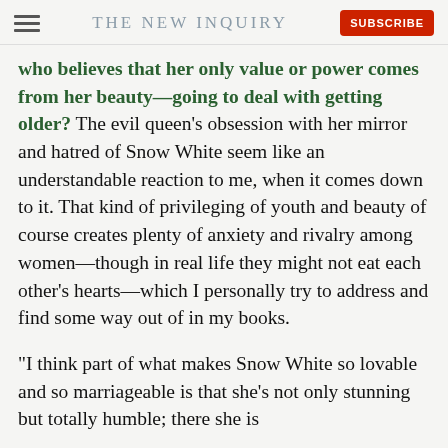THE NEW INQUIRY
who believes that her only value or power comes from her beauty—going to deal with getting older? The evil queen's obsession with her mirror and hatred of Snow White seem like an understandable reaction to me, when it comes down to it. That kind of privileging of youth and beauty of course creates plenty of anxiety and rivalry among women—though in real life they might not eat each other's hearts—which I personally try to address and find some way out of in my books.
"I think part of what makes Snow White so lovable and so marriageable is that she's not only stunning but totally humble; there she is housekeeping with birds and assorted wildlife,